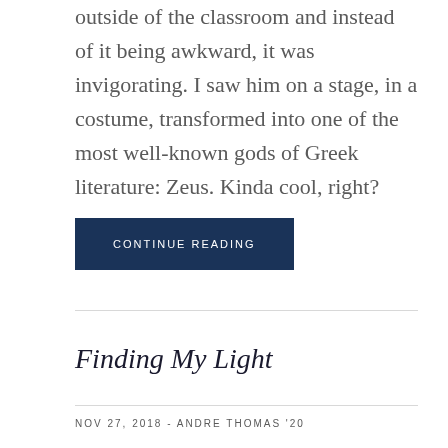outside of the classroom and instead of it being awkward, it was invigorating. I saw him on a stage, in a costume, transformed into one of the most well-known gods of Greek literature: Zeus. Kinda cool, right?
CONTINUE READING
Finding My Light
NOV 27, 2018 - ANDRE THOMAS '20